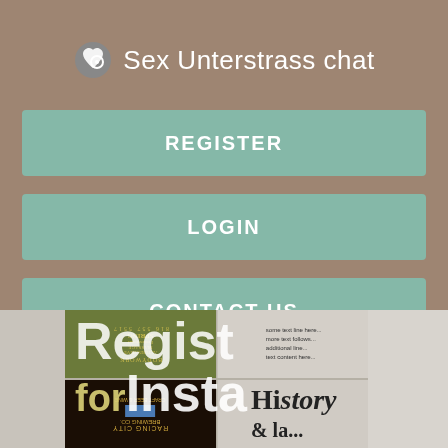Sex Unterstrass chat
REGISTER
LOGIN
CONTACT US
[Figure (screenshot): Bottom portion showing a collage of images with overlaid text reading 'Register for Insta' in white, over images including what appears to be RACING CITY BREWING CO. craft beer labels and newspaper-style text]